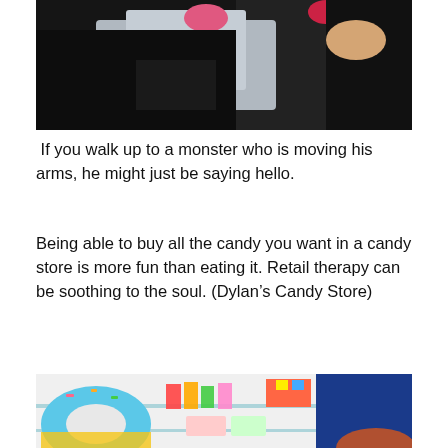[Figure (photo): Close-up photo of a dark-furred animal (possibly a cat or monster toy) with pink and red accessories being held by human hands against a light background.]
If you walk up to a monster who is moving his arms, he might just be saying hello.
Being able to buy all the candy you want in a candy store is more fun than eating it. Retail therapy can be soothing to the soul. (Dylan’s Candy Store)
[Figure (photo): Interior of Dylan’s Candy Store showing glass shelves stocked with colorful candies, lollipops, and packaged sweets. Large plush donut and blue character pillow visible in the foreground.]